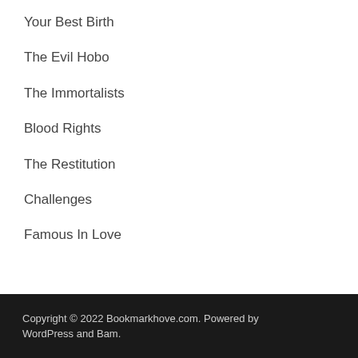Your Best Birth
The Evil Hobo
The Immortalists
Blood Rights
The Restitution
Challenges
Famous In Love
Copyright © 2022 Bookmarkhove.com. Powered by WordPress and Bam.